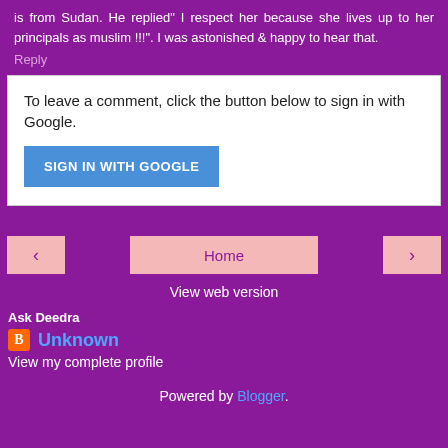is from Sudan. He replied" I respect her because she lives up to her principals as muslim !!!". I was astonished & happy to hear that.
Reply
To leave a comment, click the button below to sign in with Google.
SIGN IN WITH GOOGLE
‹
Home
›
View web version
Ask Deedra
Unknown
View my complete profile
Powered by Blogger.